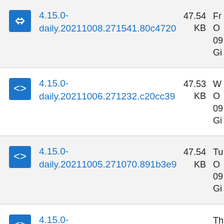4.15.0-daily.20211008.271541.80c4720  47.54 KB  Fr O 09 Gi
4.15.0-daily.20211006.271232.c20cc39  47.53 KB  W O 09 Gi
4.15.0-daily.20211005.271070.891b3e9  47.54 KB  Tu O 09 Gi
4.15.0-daily.20210930.270473.d79be1f  Th Se 09 Gi